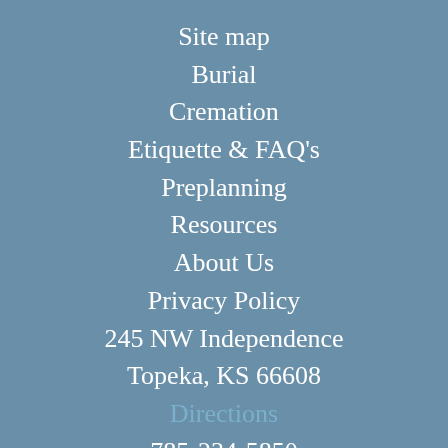Site map
Burial
Cremation
Etiquette & FAQ's
Preplanning
Resources
About Us
Privacy Policy
245 NW Independence
Topeka, KS 66608
Directions
785-234-5850